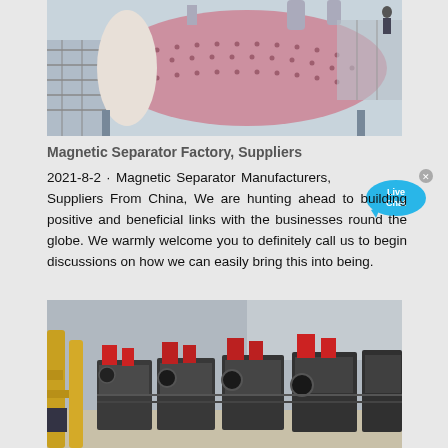[Figure (photo): Industrial magnetic separator machine — large cylindrical drum with studded pink/red surface mounted on a metal frame inside a factory]
Magnetic Separator Factory, Suppliers
2021-8-2 · Magnetic Separator Manufacturers, Suppliers From China, We are hunting ahead to building positive and beneficial links with the businesses round the globe. We warmly welcome you to definitely call us to begin discussions on how we can easily bring this into being.
[Figure (photo): Industrial factory floor with multiple large jaw crusher machines lined up in a row, yellow painted supports on the left, red and black machinery components visible]